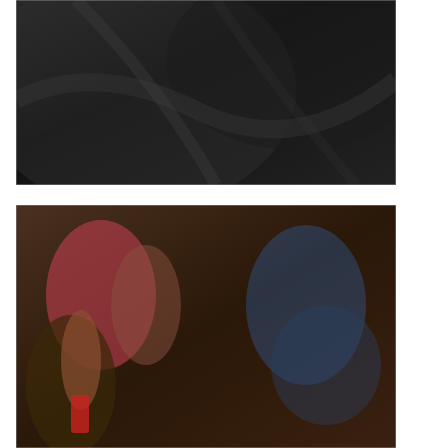[Figure (photo): Dark blurry close-up image, possibly of seat or interior fabric, predominantly dark gray tones.]
[Figure (screenshot): Screenshot of a video or webpage showing blurry people in foreground with an overlay popup ad for 'OP-ED | Measuring Police Violence Isn't So Straightforward | CT News Junkie'. The popup shows two officers/soldiers on a sidewalk, a mute icon circle, and a close button X. A lower text banner reads 'OP-ED | MEASURING POLICE VIOLENCE ISN'T SO STRAIGHTFORWARD | CT NEWS JUNKIE' in bold with OP-ED in red.]